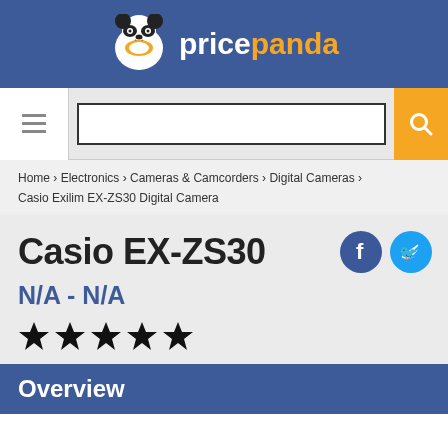pricepanda
[Figure (screenshot): Search bar with hamburger menu icon and orange search button]
Home › Electronics › Cameras & Camcorders › Digital Cameras › Casio Exilim EX-ZS30 Digital Camera
Casio EX-ZS30
N/A - N/A
[Figure (illustration): Five black star rating icons]
Overview